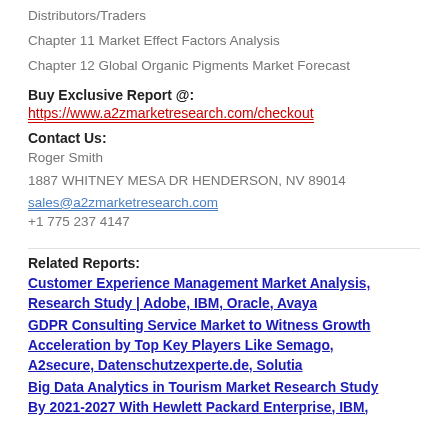Distributors/Traders
Chapter 11 Market Effect Factors Analysis
Chapter 12 Global Organic Pigments Market Forecast
Buy Exclusive Report @:
https://www.a2zmarketresearch.com/checkout
Contact Us:
Roger Smith
1887 WHITNEY MESA DR HENDERSON, NV 89014
sales@a2zmarketresearch.com
+1 775 237 4147
Related Reports:
Customer Experience Management Market Analysis, Research Study | Adobe, IBM, Oracle, Avaya
GDPR Consulting Service Market to Witness Growth Acceleration by Top Key Players Like Semago, A2secure, Datenschutzexperte.de, Solutia
Big Data Analytics in Tourism Market Research Study By 2021-2027 With Hewlett Packard Enterprise, IBM,